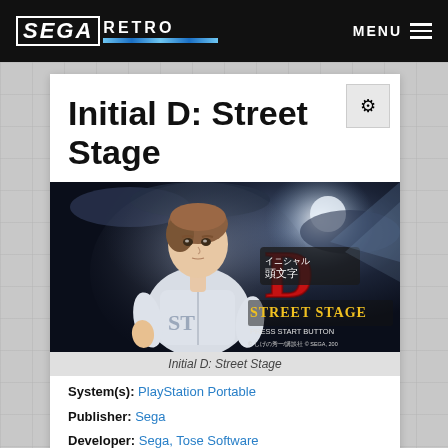SEGA RETRO — MENU
Initial D: Street Stage
[Figure (screenshot): Initial D: Street Stage PSP game title screen showing anime character in white shirt with Initial D Street Stage logo and 'PRESS START BUTTON' text. Copyright: しげの秀一/講談社 © SEGA, 2006]
Initial D: Street Stage
System(s): PlayStation Portable
Publisher: Sega
Developer: Sega, Tose Software